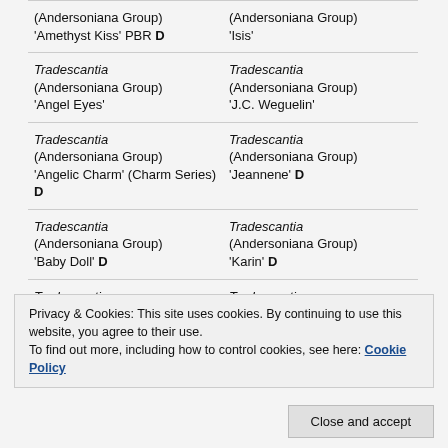| Column 1 | Column 2 |
| --- | --- |
| (Andersoniana Group) 'Amethyst Kiss' PBR D | (Andersoniana Group) 'Isis' |
| Tradescantia (Andersoniana Group) 'Angel Eyes' | Tradescantia (Andersoniana Group) 'J.C. Weguelin' |
| Tradescantia (Andersoniana Group) 'Angelic Charm' (Charm Series) D | Tradescantia (Andersoniana Group) 'Jeannene' D |
| Tradescantia (Andersoniana Group) 'Baby Doll' D | Tradescantia (Andersoniana Group) 'Karin' D |
| Tradescantia... | Tradescantia... |
Privacy & Cookies: This site uses cookies. By continuing to use this website, you agree to their use.
To find out more, including how to control cookies, see here: Cookie Policy